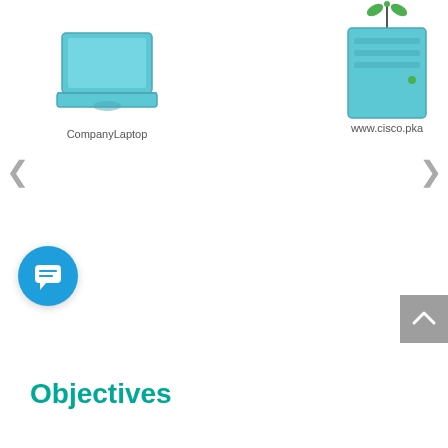[Figure (screenshot): Cisco Packet Tracer network diagram showing a CompanyLaptop device on the upper left and a www.cisco.pka server on the upper right, with left and right navigation arrows in the middle, a scroll-to-top button in the lower right, a chat/message bubble icon on the lower left, and an 'Objectives' section header in teal at the bottom left.]